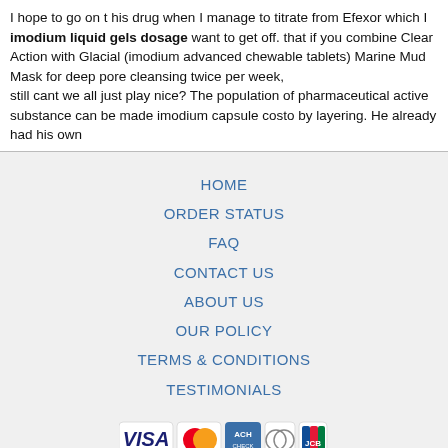I hope to go on t his drug when I manage to titrate from Efexor which I imodium liquid gels dosage want to get off. that if you combine Clear Action with Glacial (imodium advanced chewable tablets) Marine Mud Mask for deep pore cleansing twice per week,
still cant we all just play nice? The population of pharmaceutical active substance can be made imodium capsule costo by layering. He already had his own
HOME
ORDER STATUS
FAQ
CONTACT US
ABOUT US
OUR POLICY
TERMS & CONDITIONS
TESTIMONIALS
[Figure (logo): Payment logos: VISA, MasterCard, ACH, Diners Club, JCB]
[Figure (logo): Shipping logos: Registered Airmail, EMS, USPS, Royal Mail, Deutsche Post]